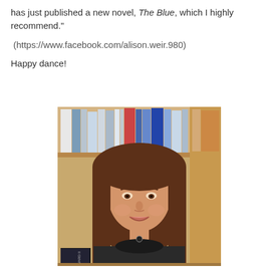has just published a new novel, The Blue, which I highly recommend."
(https://www.facebook.com/alison.weir.980)
Happy dance!
[Figure (photo): Portrait photo of a woman with long brown hair, smiling, standing in front of a bookshelf filled with books.]